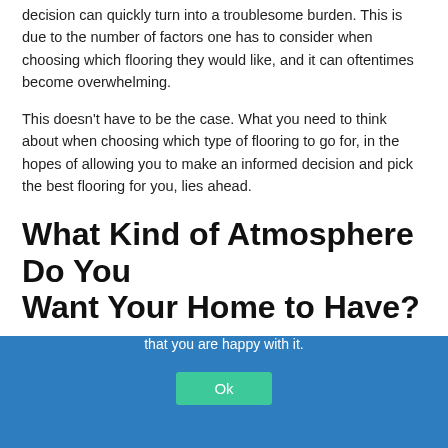decision can quickly turn into a troublesome burden. This is due to the number of factors one has to consider when choosing which flooring they would like, and it can oftentimes become overwhelming.
This doesn't have to be the case. What you need to think about when choosing which type of flooring to go for, in the hopes of allowing you to make an informed decision and pick the best flooring for you, lies ahead.
What Kind of Atmosphere Do You Want Your Home to Have?
[Figure (photo): Partial view of a room with flooring, partially obscured by a cookie consent banner. Blue tinted background visible with a decorative circular pattern.]
We use cookies to ensure that we give you the best experience on our website. If you continue to use this site we will assume that you are happy with it.